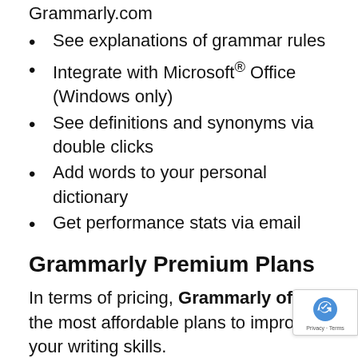Grammarly.com
See explanations of grammar rules
Integrate with Microsoft® Office (Windows only)
See definitions and synonyms via double clicks
Add words to your personal dictionary
Get performance stats via email
Grammarly Premium Plans
In terms of pricing, Grammarly offers the most affordable plans to improve your writing skills.